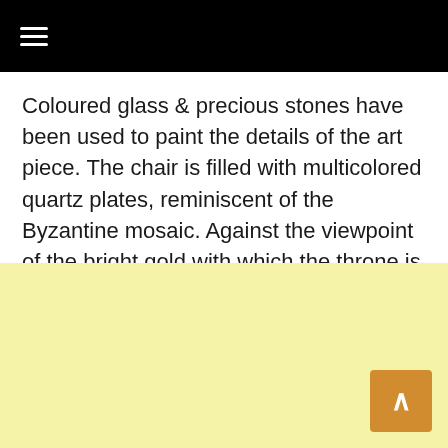≡
Coloured glass & precious stones have been used to paint the details of the art piece. The chair is filled with multicolored quartz plates, reminiscent of the Byzantine mosaic. Against the viewpoint of the bright gold with which the throne is filled, the finishing colors look notably chic.
[Figure (other): Light yellow background section at bottom of page with a small orange scroll-to-top button in the bottom right corner containing an upward caret symbol.]